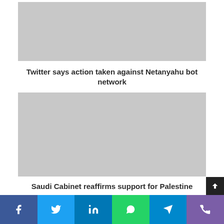[Figure (photo): Gray placeholder image for an article thumbnail (top)]
Twitter says action taken against Netanyahu bot network
[Figure (photo): Gray placeholder image for an article thumbnail (bottom)]
Saudi Cabinet reaffirms support for Palestine